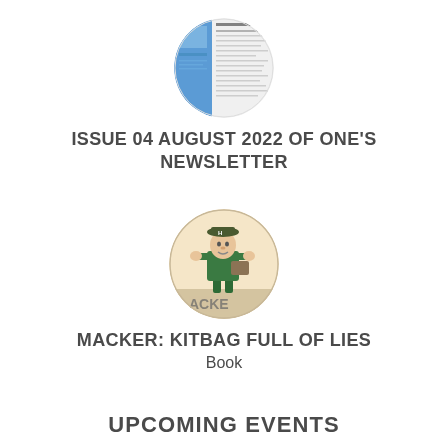[Figure (photo): Circular thumbnail image of a newsletter page with blue and white content]
ISSUE 04 AUGUST 2022 OF ONE'S NEWSLETTER
[Figure (illustration): Circular illustration of a cartoon soldier character labeled MACKER]
MACKER: KITBAG FULL OF LIES
Book
UPCOMING EVENTS